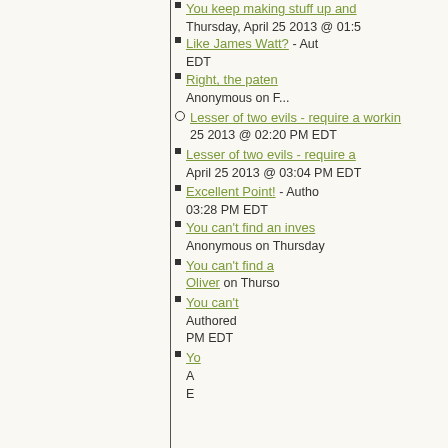You keep making stuff up and - Thursday, April 25 2013 @ 01:5...
Like James Watt? - Author... EDT
Right, the paten... Anonymous on F...
Lesser of two evils - require a workin... 25 2013 @ 02:20 PM EDT
Lesser of two evils - require a... April 25 2013 @ 03:04 PM EDT
Excellent Point! - Author... 03:28 PM EDT
You can't find an inves... Anonymous on Thursday...
You can't find a... Oliver on Thurso...
You can't... Authored... PM EDT
Yo... A... E...
Yo... A... P...